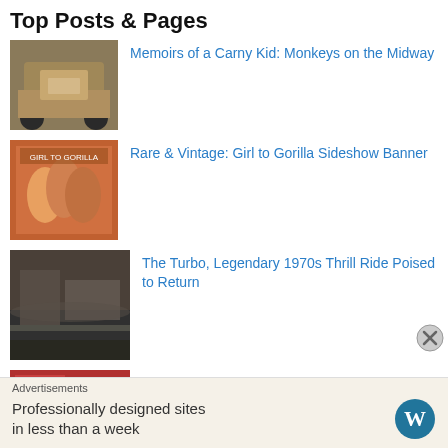Top Posts & Pages
Memoirs of a Carny Kid: Monkeys on the Midway
Rare & Vintage: Girl to Gorilla Sideshow Banner
The Turbo, Legendary 1970s Thrill Ride Poised to Return
Traveler: Where You Can Play Fascination Year Round
Advertisements
Professionally designed sites in less than a week